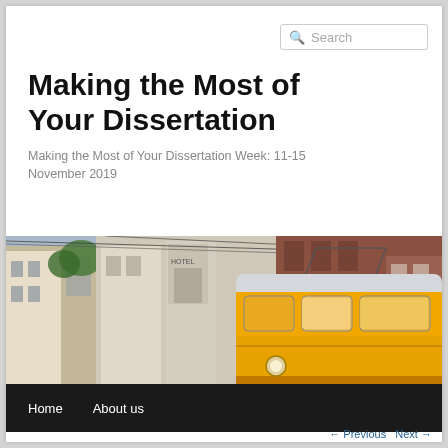Search
Making the Most of Your Dissertation
Making the Most of Your Dissertation Week: 11-15 November 2019
[Figure (photo): A yellow tram/cable car in a city street with buildings on either side]
Home   About us
← Previous   Next →